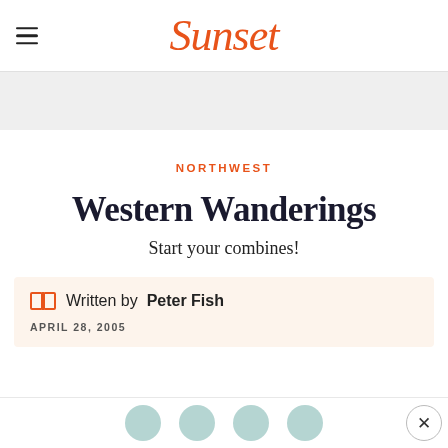Sunset
NORTHWEST
Western Wanderings
Start your combines!
Written by Peter Fish
APRIL 28, 2005